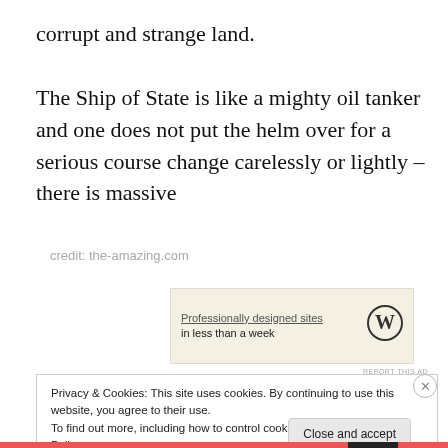corrupt and strange land.

The Ship of State is like a mighty oil tanker and one does not put the helm over for a serious course change carelessly or lightly – there is massive
credit: the-amazing.com
[Figure (other): WordPress advertisement banner: 'Professionally designed sites in less than a week' with WordPress logo (W)]
Privacy & Cookies: This site uses cookies. By continuing to use this website, you agree to their use.
To find out more, including how to control cookies, see here: Cookie Policy